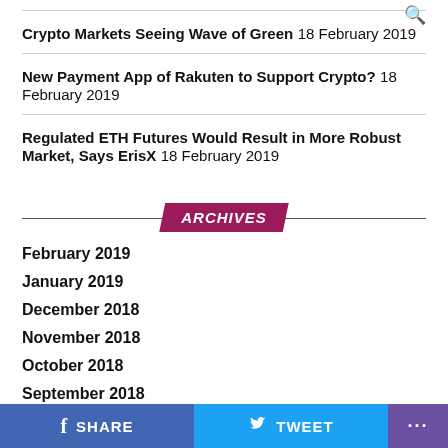Crypto Markets Seeing Wave of Green 18 February 2019
New Payment App of Rakuten to Support Crypto? 18 February 2019
Regulated ETH Futures Would Result in More Robust Market, Says ErisX 18 February 2019
ARCHIVES
February 2019
January 2019
December 2018
November 2018
October 2018
September 2018
SHARE   TWEET   ...